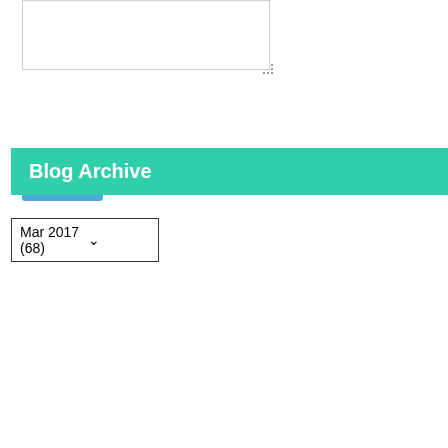[Figure (screenshot): A textarea input box (empty, white background, gray border) with a resize handle in the bottom-right corner]
Send
Blog Archive
Mar 2017 (68)